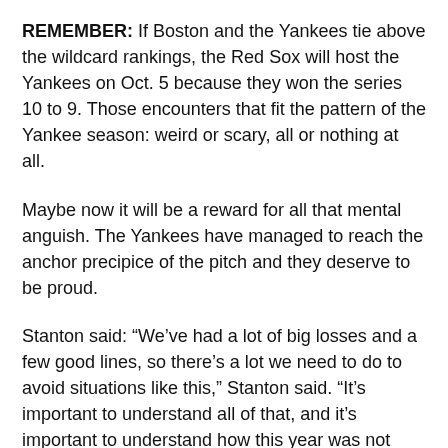REMEMBER: If Boston and the Yankees tie above the wildcard rankings, the Red Sox will host the Yankees on Oct. 5 because they won the series 10 to 9. Those encounters that fit the pattern of the Yankee season: weird or scary, all or nothing at all.
Maybe now it will be a reward for all that mental anguish. The Yankees have managed to reach the anchor precipice of the pitch and they deserve to be proud.
Stanton said: “We’ve had a lot of big losses and a few good lines, so there’s a lot we need to do to avoid situations like this,” Stanton said. “It’s important to understand all of that, and it’s important to understand how this year was not washed away. It is a learning curve and we can use it to our advantage, even from the bad parts.”